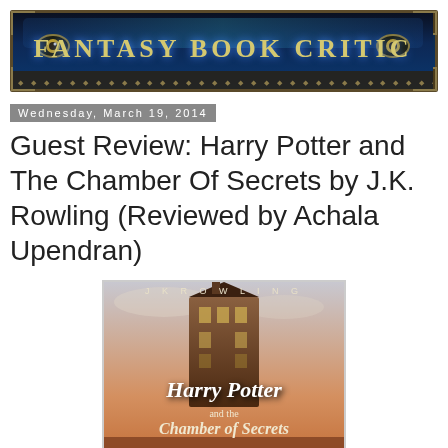[Figure (logo): Fantasy Book Critic website banner/logo with dark blue mystical background, gold ornate text reading FANTASY BOOK CRITIC with decorative eye icons on each side and corner ornaments]
Wednesday, March 19, 2014
Guest Review: Harry Potter and The Chamber Of Secrets by J.K. Rowling (Reviewed by Achala Upendran)
[Figure (photo): Book cover of Harry Potter and the Chamber of Secrets by J.K. Rowling, showing a tall fantasy tower building on an orange/warm-toned background with the title in large stylized white text and author name J K ROWLING at the top]